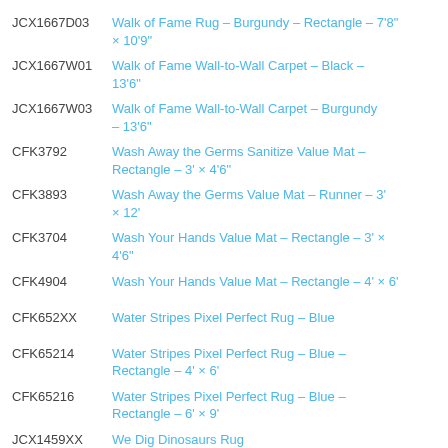JCX1667D03 | Walk of Fame Rug - Burgundy - Rectangle - 7'8" × 10'9"
JCX1667W01 | Walk of Fame Wall-to-Wall Carpet - Black - 13'6"
JCX1667W03 | Walk of Fame Wall-to-Wall Carpet - Burgundy - 13'6"
CFK3792 | Wash Away the Germs Sanitize Value Mat - Rectangle - 3' × 4'6"
CFK3893 | Wash Away the Germs Value Mat - Runner - 3' × 12'
CFK3704 | Wash Your Hands Value Mat - Rectangle - 3' × 4'6"
CFK4904 | Wash Your Hands Value Mat - Rectangle - 4' × 6'
CFK652XX | Water Stripes Pixel Perfect Rug - Blue
CFK65214 | Water Stripes Pixel Perfect Rug - Blue - Rectangle - 4' × 6'
CFK65216 | Water Stripes Pixel Perfect Rug - Blue - Rectangle - 6' × 9'
JCX1459XX | We Dig Dinosaurs Rug
JCX1459B | We Dig Dinosaurs Rug - Rectangle - 3'10" - 5'4"